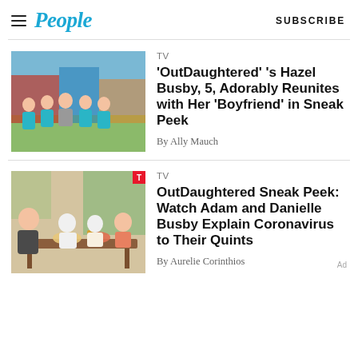People | SUBSCRIBE
[Figure (photo): Group photo of five young children in matching teal outfits standing outside]
TV
'OutDaughtered' 's Hazel Busby, 5, Adorably Reunites with Her 'Boyfriend' in Sneak Peek
By Ally Mauch
[Figure (photo): Woman and children sitting at an outdoor table eating a meal]
TV
OutDaughtered Sneak Peek: Watch Adam and Danielle Busby Explain Coronavirus to Their Quints
By Aurelie Corinthios